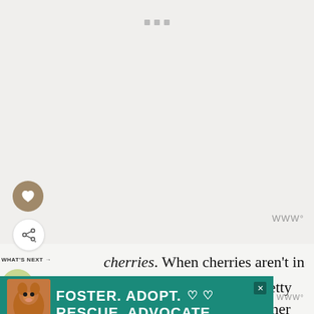[Figure (other): Large blank/loading image placeholder area with three small grey dots at top center indicating loading state]
[Figure (other): Circular brown button with a heart icon (favorite/save button)]
[Figure (other): Circular white button with share icon (share button)]
WWW°
WHAT'S NEXT → How to Make Limoncello...
cherries. When cherries aren't in season, purchasing them fresh can get pretty expensive, while frozen cherries are another o... baking ...
[Figure (photo): Advertisement banner with green background featuring a dog photo and text: FOSTER. ADOPT. ♡♡ RESCUE. ADVOCATE.]